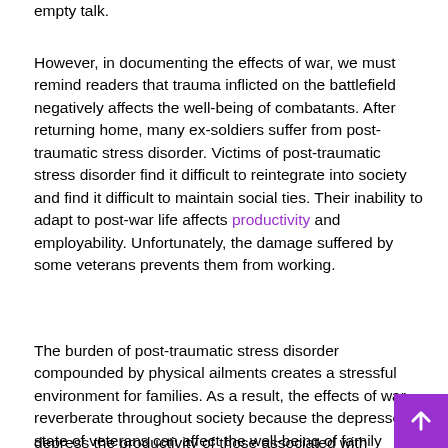empty talk.
However, in documenting the effects of war, we must remind readers that trauma inflicted on the battlefield negatively affects the well-being of combatants. After returning home, many ex-soldiers suffer from post-traumatic stress disorder. Victims of post-traumatic stress disorder find it difficult to reintegrate into society and find it difficult to maintain social ties. Their inability to adapt to post-war life affects productivity and employability. Unfortunately, the damage suffered by some veterans prevents them from working.
The burden of post-traumatic stress disorder compounded by physical ailments creates a stressful environment for families. As a result, the effects of war reverberate throughout society because the depressed state of veterans can affect the well-being of family members. Caring for sick veterans is expensive, even when they receive philanthropic and government support. As such, it risks depleting scarce resources. Such circumstances depress the productivity of those associated with veterans and